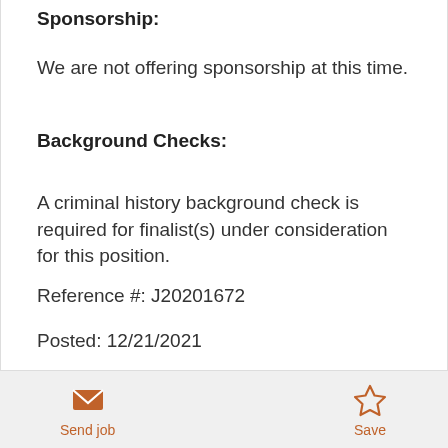Sponsorship:
We are not offering sponsorship at this time.
Background Checks:
A criminal history background check is required for finalist(s) under consideration for this position.
Reference #: J20201672
Posted: 12/21/2021
[Figure (infographic): Send job button with envelope icon in orange]
[Figure (infographic): Save button with star icon in orange]